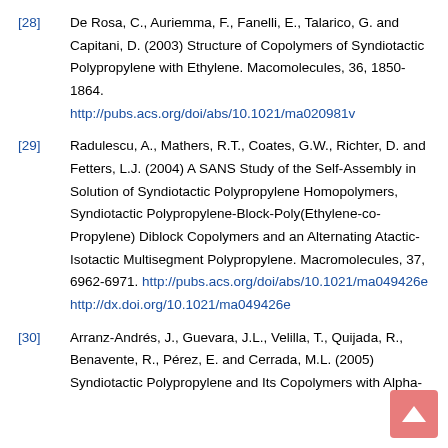[28] De Rosa, C., Auriemma, F., Fanelli, E., Talarico, G. and Capitani, D. (2003) Structure of Copolymers of Syndiotactic Polypropylene with Ethylene. Macomolecules, 36, 1850-1864. http://pubs.acs.org/doi/abs/10.1021/ma020981v
[29] Radulescu, A., Mathers, R.T., Coates, G.W., Richter, D. and Fetters, L.J. (2004) A SANS Study of the Self-Assembly in Solution of Syndiotactic Polypropylene Homopolymers, Syndiotactic Polypropylene-Block-Poly(Ethylene-co-Propylene) Diblock Copolymers and an Alternating Atactic-Isotactic Multisegment Polypropylene. Macromolecules, 37, 6962-6971. http://pubs.acs.org/doi/abs/10.1021/ma049426e http://dx.doi.org/10.1021/ma049426e
[30] Arranz-Andrés, J., Guevara, J.L., Velilla, T., Quijada, R., Benavente, R., Pérez, E. and Cerrada, M.L. (2005) Syndiotactic Polypropylene and Its Copolymers with Alpha-